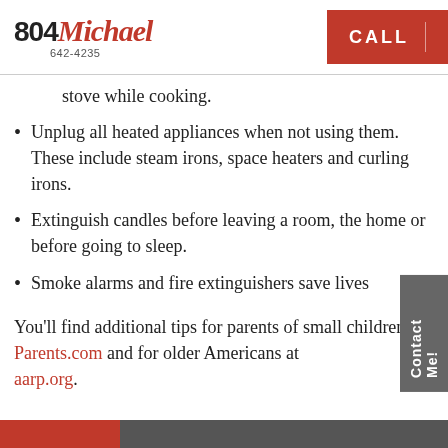804Michael 642-4235 | CALL
stove while cooking.
Unplug all heated appliances when not using them. These include steam irons, space heaters and curling irons.
Extinguish candles before leaving a room, the home or before going to sleep.
Smoke alarms and fire extinguishers save lives
You'll find additional tips for parents of small children at Parents.com and for older Americans at aarp.org.